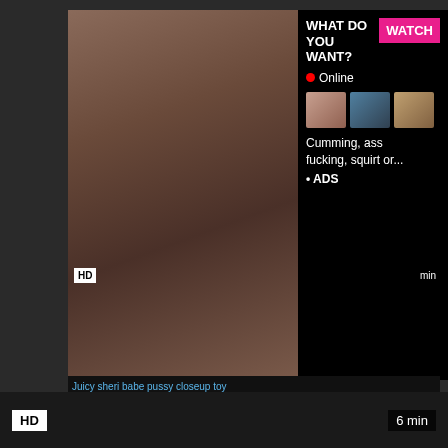[Figure (screenshot): Adult content advertisement overlay with photo, watch button, online indicator, thumbnail images, and text 'Cumming, ass fucking, squirt or... ADS']
[Figure (screenshot): Fake missed call notification styled as audio player: '(1)Missed Call from Eliza - pleeease call me back.. I miss y...' with green phone icon, progress bar showing 0:00 to 3:23, playback controls]
HD
6 min